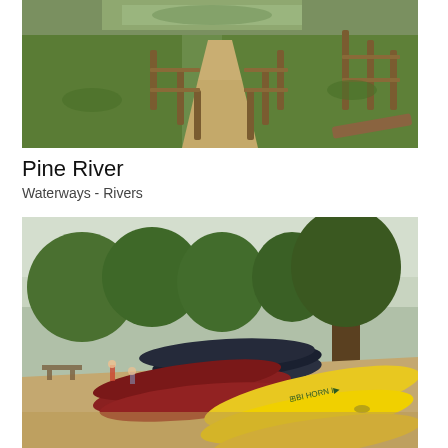[Figure (photo): Aerial/overhead view of a sandy trail path leading to a river, with wooden post-and-rail fencing on either side and green grass/vegetation surrounding the path.]
Pine River
Waterways - Rivers
[Figure (photo): Outdoor scene of multiple canoes and kayaks stacked and lying on a sandy beach near a river, with trees in the background. Yellow, red, and dark blue canoes are visible. A few people can be seen in the background near a picnic table.]